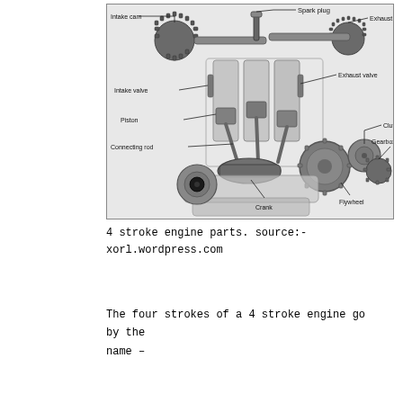[Figure (engineering-diagram): 3D cutaway illustration of a 4-stroke engine showing labeled parts: Spark plug (top center), Intake cam (top left), Exhaust cam (top right), Intake valve (left), Exhaust valve (right), Clutch (right), Piston (left-center), Gearbox (right), Connecting rod (left), Flywheel (bottom right), Crank (bottom center)]
4 stroke engine parts. source:- xorl.wordpress.com
The four strokes of a 4 stroke engine go by the name –